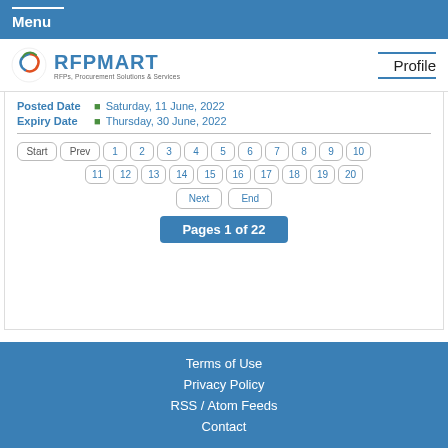Menu
[Figure (logo): RFPMART logo with swirl icon and tagline RFPs, Procurement Solutions & Services]
Profile
Posted Date  Saturday, 11 June, 2022
Expiry Date  Thursday, 30 June, 2022
Start Prev 1 2 3 4 5 6 7 8 9 10 11 12 13 14 15 16 17 18 19 20 Next End
Pages 1 of 22
Terms of Use
Privacy Policy
RSS / Atom Feeds
Contact